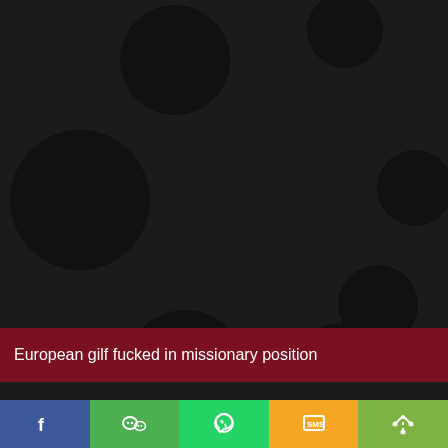[Figure (illustration): Dark background with large black polka dot circles scattered across the image, resembling a video loading screen or thumbnail placeholder.]
European gilf fucked in missionary position
[Figure (screenshot): Thumbnail strip at bottom showing partial video thumbnails with an HD badge on the right side.]
[Figure (infographic): Social sharing bar with five buttons: Facebook (blue), WeChat (green), WhatsApp (green), SMS (yellow/orange), and More/Share (light green).]